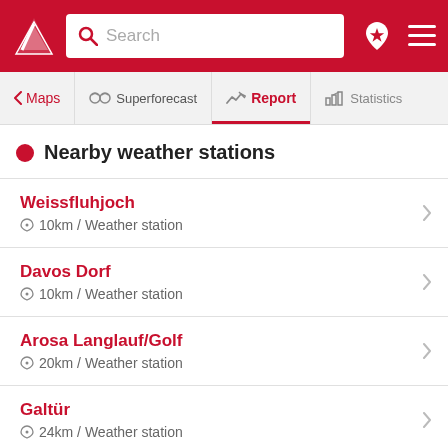Search
Nearby weather stations
Weissfluhjoch — 10km / Weather station
Davos Dorf — 10km / Weather station
Arosa Langlauf/Golf — 20km / Weather station
Galtür — 24km / Weather station